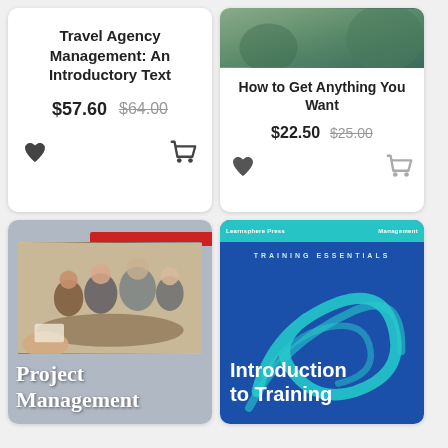Travel Agency Management: An Introductory Text
$57.60   $64.00
[Figure (illustration): Book cover thumbnail for 'How to Get Anything You Want' with green nature background and motivational text overlay]
How to Get Anything You Want
$22.50   $25.00
[Figure (photo): Book cover for 'Project Management' showing people at a meeting table, gray background with red stripe, white bold serif text]
[Figure (illustration): Book cover for 'Introduction to Training' - Training Essentials series, blue background with teal swirl design and white bold text]